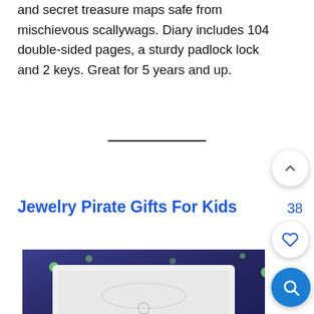and secret treasure maps safe from mischievous scallywags. Diary includes 104 double-sided pages, a sturdy padlock lock and 2 keys. Great for 5 years and up.
[Figure (other): Horizontal divider line]
Jewelry Pirate Gifts For Kids
[Figure (photo): Photo of a silver necklace in a white jewelry display box against a dark blue/purple background with green glowing dots]